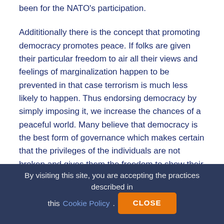been for the NATO's participation.
Addititionally there is the concept that promoting democracy promotes peace. If folks are given their particular freedom to air all their views and feelings of marginalization happen to be prevented in that case terrorism is much less likely to happen. Thus endorsing democracy by simply imposing it, we increase the chances of a peaceful world. Many believe that democracy is the best form of governance which makes certain that the privileges of the individuals are not broken and gives them the freedom to show their tips and thus it truly is their 'humanitarian obligation' to create democracy to the people who don't have it. On the contrary, it is believed that an input is very more likely to fail since the government is being formed up against the country's will certainly and is more unlikely to gain support. Democratic governments prove to be good only when the federal government is chosen by the persons and is very likely to command esteem and maintain order. Democracies are generally not necessarily more peaceful
By visiting this site, you are accepting the practices described in this Cookie Policy.